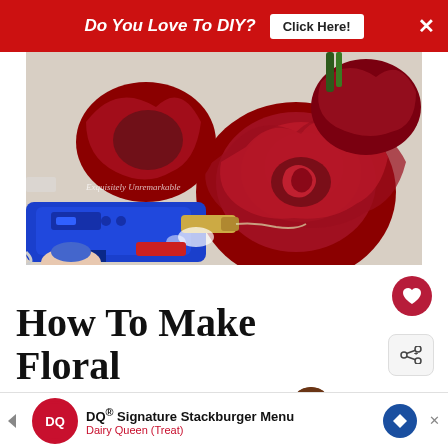Do You Love To DIY? Click Here!
[Figure (photo): A blue hot glue gun pointing at red artificial roses/flowers on a light surface, with a watermark reading 'Exquisitely Unremarkable']
How To Make Floral Candle Rings
WHAT'S NEXT → Stunning Candle Deco...
It ... lpted fo... se the
[Figure (infographic): Dairy Queen advertisement: DQ® Signature Stackburger Menu, Dairy Queen (Treat)]